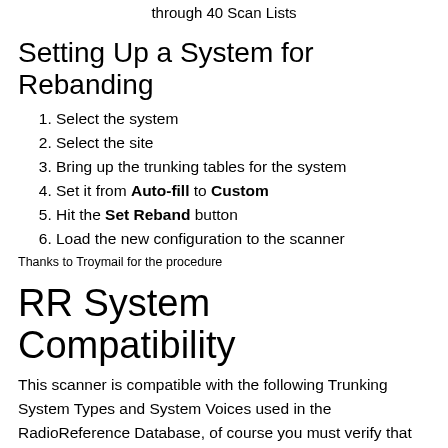through 40 Scan Lists
Setting Up a System for Rebanding
Select the system
Select the site
Bring up the trunking tables for the system
Set it from Auto-fill to Custom
Hit the Set Reband button
Load the new configuration to the scanner
Thanks to Troymail for the procedure
RR System Compatibility
This scanner is compatible with the following Trunking System Types and System Voices used in the RadioReference Database, of course you must verify that the scanner will cover the appropriate frequency range: